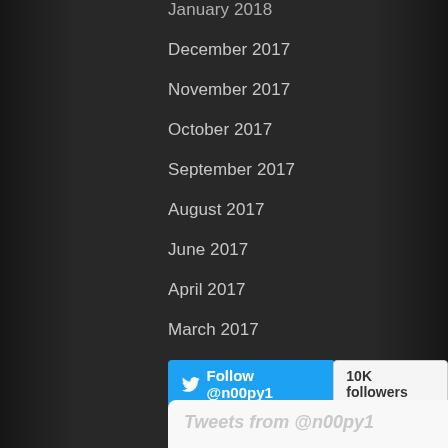January 2018
December 2017
November 2017
October 2017
September 2017
August 2017
June 2017
April 2017
March 2017
January 2017
October 2016
[Figure (screenshot): Twitter Follow @n00py1 button with 10K followers badge]
Tweets from @n00py1